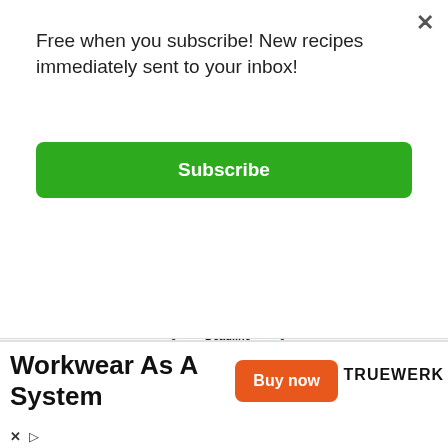Free when you subscribe! New recipes immediately sent to your inbox!
[Figure (screenshot): Green Subscribe button]
[Figure (screenshot): Background page content showing a schedule document with bullet lists and casino/event photos, overlaid with a starburst promotional graphic reading 'Last chance for $100 off! Deadline extended to Wednesday!']
[Figure (screenshot): Advertisement banner for Truewerk 'Workwear As A System' with orange Buy now button and Truewerk logo]